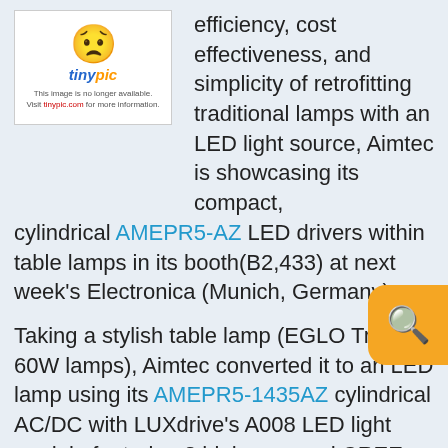[Figure (logo): TinyPic unavailable image placeholder with sad yellow smiley face and tinypic logo]
efficiency, cost effectiveness, and simplicity of retrofitting traditional lamps with an LED light source, Aimtec is showcasing its compact, cylindrical AMEPR5-AZ LED drivers within table lamps in its booth(B2,433) at next week's Electronica (Munich, Germany).
Taking a stylish table lamp (EGLO Troy 3 60W lamps), Aimtec converted it to an LED lamp using its AMEPR5-1435AZ cylindrical AC/DC with LUXdrive's A008 LED light module featuring 3 high-powered CREE XP-G type 6500K white LEDsand an OHMITE S series heat-sink for the LEDs.  The lamps will be on display during Electronica, along with an